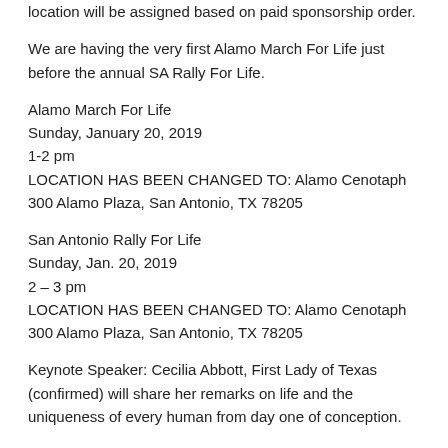location will be assigned based on paid sponsorship order.
We are having the very first Alamo March For Life just before the annual SA Rally For Life.
Alamo March For Life
Sunday, January 20, 2019
1-2 pm
LOCATION HAS BEEN CHANGED TO: Alamo Cenotaph
300 Alamo Plaza, San Antonio, TX 78205
San Antonio Rally For Life
Sunday, Jan. 20, 2019
2 – 3 pm
LOCATION HAS BEEN CHANGED TO: Alamo Cenotaph
300 Alamo Plaza, San Antonio, TX 78205
Keynote Speaker: Cecilia Abbott, First Lady of Texas (confirmed) will share her remarks on life and the uniqueness of every human from day one of conception.
Guest Speakers: Fr. Will Combs (St. Mary Magdalen Parish